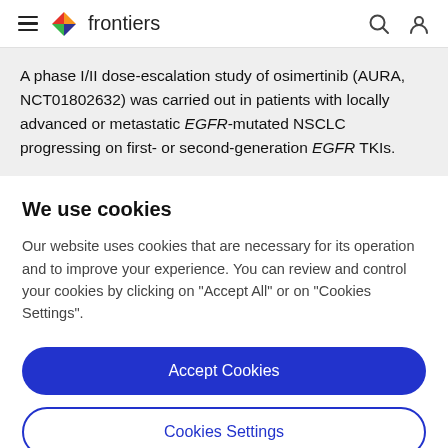frontiers
A phase I/II dose-escalation study of osimertinib (AURA, NCT01802632) was carried out in patients with locally advanced or metastatic EGFR-mutated NSCLC progressing on first- or second-generation EGFR TKIs.
We use cookies
Our website uses cookies that are necessary for its operation and to improve your experience. You can review and control your cookies by clicking on "Accept All" or on "Cookies Settings".
Accept Cookies
Cookies Settings